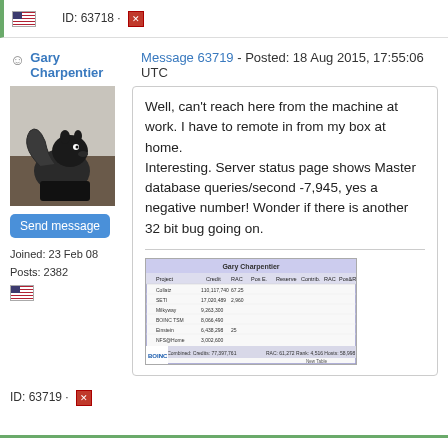ID: 63718
Gary Charpentier – Message 63719 - Posted: 18 Aug 2015, 17:55:06 UTC
[Figure (photo): Profile avatar photo of a squirrel on dark background]
Send message
Joined: 23 Feb 08
Posts: 2382
Well, can't reach here from the machine at work. I have to remote in from my box at home. Interesting. Server status page shows Master database queries/second -7,945, yes a negative number! Wonder if there is another 32 bit bug going on.
[Figure (screenshot): Screenshot of BOINC server status page showing database statistics table with Gary Charpentier header]
ID: 63719